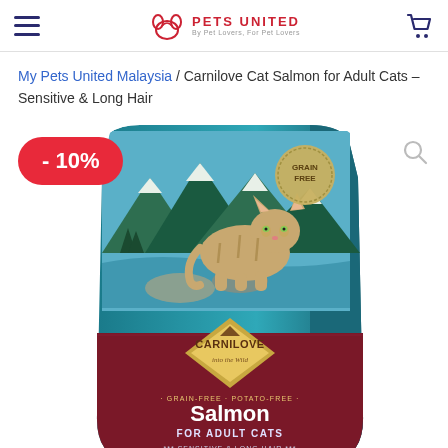My Pets United — By Pet Lovers, for Pet Lovers (header with hamburger menu and cart)
My Pets United Malaysia / Carnilove Cat Salmon for Adult Cats – Sensitive & Long Hair
[Figure (photo): Product photo of Carnilove Cat Salmon for Adult Cats – Sensitive & Long Hair dry cat food bag. The bag is teal/blue with a wild cat (lynx) standing on rocks with a forest/mountain background. A gold 'Grain Free' badge is in the top right corner. The bottom half of the bag is dark red/burgundy with a diamond-shaped logo saying 'CARNILOVE into the Wild', text 'GRAIN-FREE · POTATO-FREE', large 'Salmon' in white, 'FOR ADULT CATS', '*** SENSITIVE & LONG HAIR ***'. A red badge shows '-10%' discount overlay.]